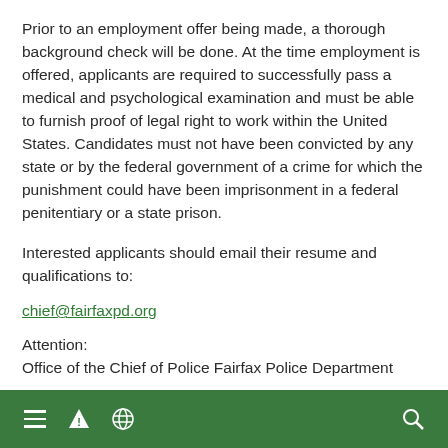Prior to an employment offer being made, a thorough background check will be done. At the time employment is offered, applicants are required to successfully pass a medical and psychological examination and must be able to furnish proof of legal right to work within the United States. Candidates must not have been convicted by any state or by the federal government of a crime for which the punishment could have been imprisonment in a federal penitentiary or a state prison.
Interested applicants should email their resume and qualifications to:
chief@fairfaxpd.org
Attention:
Office of the Chief of Police Fairfax Police Department